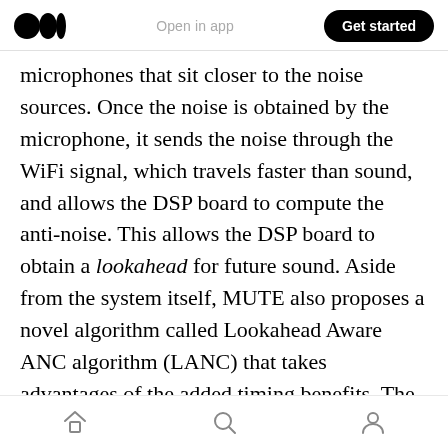Medium logo | Open in app | Get started
microphones that sit closer to the noise sources. Once the noise is obtained by the microphone, it sends the noise through the WiFi signal, which travels faster than sound, and allows the DSP board to compute the anti-noise. This allows the DSP board to obtain a lookahead for future sound. Aside from the system itself, MUTE also proposes a novel algorithm called Lookahead Aware ANC algorithm (LANC) that takes advantages of the added timing benefits. The details of LANC can be found in the paper and it may need a quite a bit of background knowledge
Home | Search | Profile